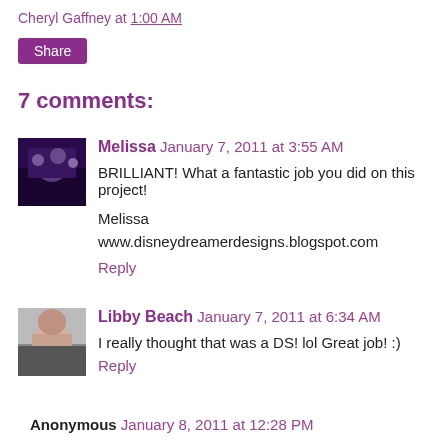Cheryl Gaffney at 1:00 AM
Share
7 comments:
Melissa  January 7, 2011 at 3:55 AM
BRILLIANT! What a fantastic job you did on this project!

Melissa
www.disneydreamerdesigns.blogspot.com
Reply
Libby Beach  January 7, 2011 at 6:34 AM
I really thought that was a DS! lol Great job! :)
Reply
Anonymous  January 8, 2011 at 12:28 PM